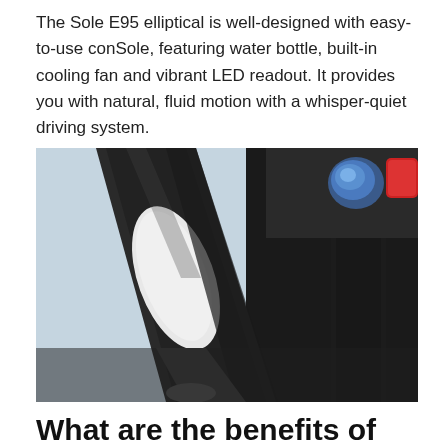The Sole E95 elliptical is well-designed with easy-to-use conSole, featuring water bottle, built-in cooling fan and vibrant LED readout. It provides you with natural, fluid motion with a whisper-quiet driving system.
[Figure (photo): Close-up photo of the Sole E95 elliptical machine handlebar and console area, showing dark textured grip handles, a round blue button, and a red button on the upper right of the console, with a light background.]
What are the benefits of using a